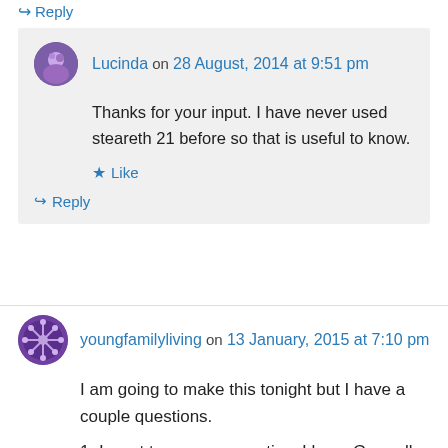↪ Reply
Lucinda on 28 August, 2014 at 9:51 pm
Thanks for your input. I have never used steareth 21 before so that is useful to know.
★ Like
↪ Reply
youngfamilyliving on 13 January, 2015 at 7:10 pm
I am going to make this tonight but I have a couple questions.
1. I want to use preservative. I have Germall plus, how much should I put in. I know it says 2% but can you tell me an exact measurement